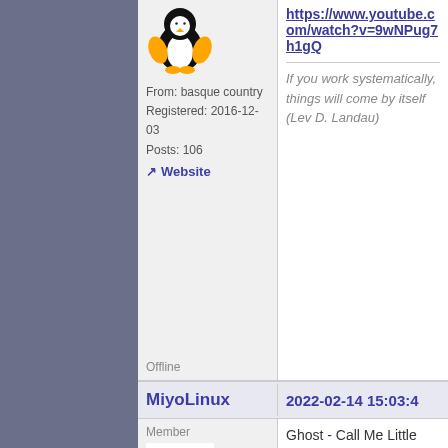[Figure (illustration): Linux penguin mascot avatar with orange wings]
From: basque country
Registered: 2016-12-03
Posts: 106
Website
Offline
https://www.youtube.com/watch?v=9wNPug7h1gQ
If you work systematically, things will come by itself (Lev D. Landau)
MiyoLinux    2022-02-14 15:03:4
Member
[Figure (illustration): Blue distressed letter M avatar for MiyoLinux]
Ghost - Call Me Little Sunshine
https://youtu